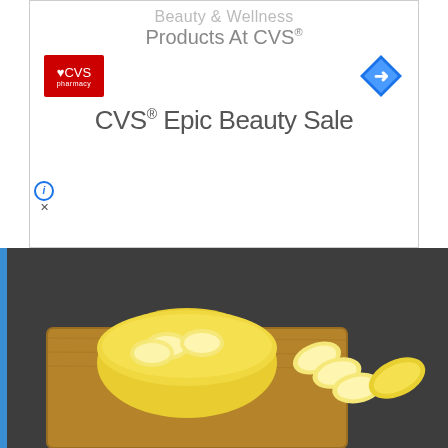[Figure (screenshot): CVS Pharmacy advertisement banner showing 'Beauty & Wellness Products At CVS® Epic Beauty Sale' with CVS logo and navigation arrow icon]
[Figure (photo): Close-up photo of sliced bananas in a yellow bowl on a wooden cutting board]
Know What Will Happen to Your Body if You Eat 2 Bananas a Day
Bananas | Sponsored
[Figure (photo): Two photos of a woman (Hayley Atwell) side by side — close up portrait on the left and full body shot in black dress on the right, at an event with warm lighting]